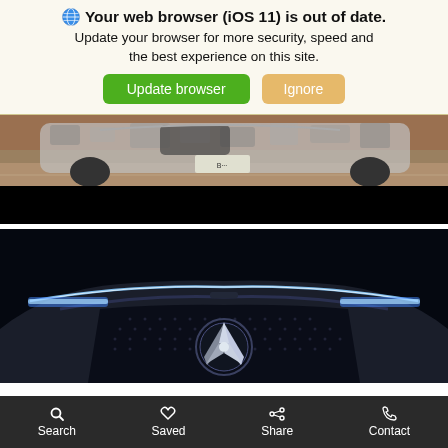🌐 Your web browser (iOS 11) is out of date. Update your browser for more security, speed and the best experience on this site. Update browser | Ignore
[Figure (photo): Camouflage-wrapped car prototype driving on a road, partially cut off, with a black letterbox bar at the bottom]
[Figure (photo): Mercedes-Benz front grille with star logo illuminated with blue/white LED light strip across the top, on a dark background]
Search  Saved  Share  Contact